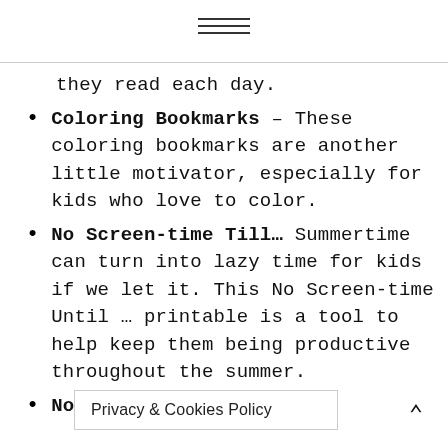≡ (hamburger menu icon)
they read each day.
Coloring Bookmarks – These coloring bookmarks are another little motivator, especially for kids who love to color.
No Screen-time Till… Summertime can turn into lazy time for kids if we let it. This No Screen-time Until … printable is a tool to help keep them being productive throughout the summer.
No Sc… –
Privacy & Cookies Policy